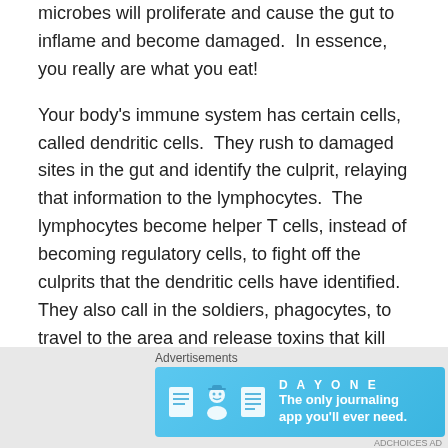microbes will proliferate and cause the gut to inflame and become damaged.  In essence, you really are what you eat!
Your body's immune system has certain cells, called dendritic cells.  They rush to damaged sites in the gut and identify the culprit, relaying that information to the lymphocytes.  The lymphocytes become helper T cells, instead of becoming regulatory cells, to fight off the culprits that the dendritic cells have identified.  They also call in the soldiers, phagocytes, to travel to the area and release toxins that kill the offending microbes.  These phagocytes can damage the surrounding tissue in an area of combat if the body is not producing enough regulatory cells to tell them to
Advertisements
[Figure (other): Day One journaling app advertisement banner with icons and tagline 'The only journaling app you'll ever need.']